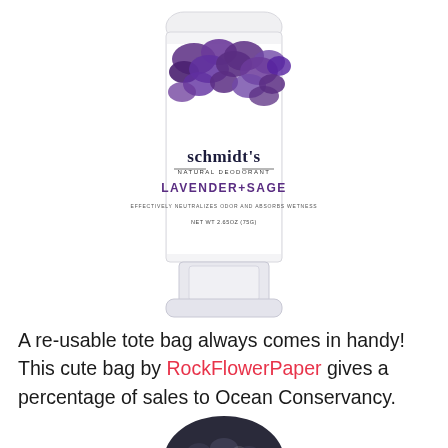[Figure (photo): Schmidt's Natural Deodorant stick in Lavender+Sage scent. White cylindrical stick deodorant with a purple floral/botanical pattern on the label. Label reads: schmidt's NATURAL DEODORANT LAVENDER+SAGE EFFECTIVELY NEUTRALIZES ODOR AND ABSORBS WETNESS NET WT 2.65OZ (75G)]
A re-usable tote bag always comes in handy! This cute bag by RockFlowerPaper gives a percentage of sales to Ocean Conservancy.
[Figure (photo): Partial view of a tote bag with a floral/botanical pattern, partially visible at the bottom of the page.]